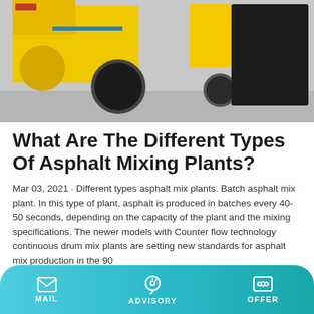[Figure (photo): Yellow asphalt mixing plant machinery / concrete pumping equipment on a ground surface, showing yellow industrial machines with wheels and black components]
What Are The Different Types Of Asphalt Mixing Plants?
Mar 03, 2021 · Different types asphalt mix plants. Batch asphalt mix plant. In this type of plant, asphalt is produced in batches every 40-50 seconds, depending on the capacity of the plant and the mixing specifications. The newer models with Counter flow technology continuous drum mix plants are setting new standards for asphalt mix production in the 90
Learn More
MAIL  ADVISORY  OFFER